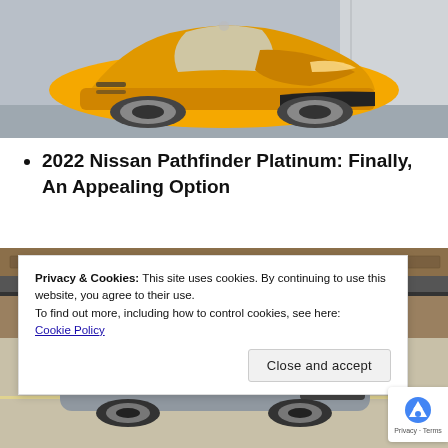[Figure (photo): Yellow sports car (Toyota GR Supra) parked in front of a building, front three-quarter view]
2022 Nissan Pathfinder Platinum: Finally, An Appealing Option
[Figure (photo): Gray Nissan Pathfinder SUV parked in a parking lot in front of a brown building, partially obscured by cookie consent banner]
Privacy & Cookies: This site uses cookies. By continuing to use this website, you agree to their use.
To find out more, including how to control cookies, see here:
Cookie Policy
Close and accept